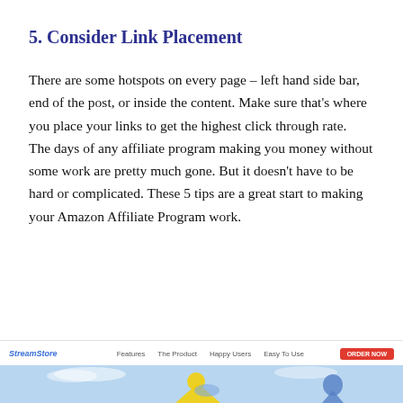5. Consider Link Placement
There are some hotspots on every page – left hand side bar, end of the post, or inside the content. Make sure that's where you place your links to get the highest click through rate.
The days of any affiliate program making you money without some work are pretty much gone. But it doesn't have to be hard or complicated. These 5 tips are a great start to making your Amazon Affiliate Program work.
[Figure (screenshot): Bottom portion of a webpage screenshot showing a navigation bar with logo, links (Features, The Product, Happy Users, Easy To Use), an ORDER NOW button, and the top of a web page with a blue sky background and illustrated characters.]